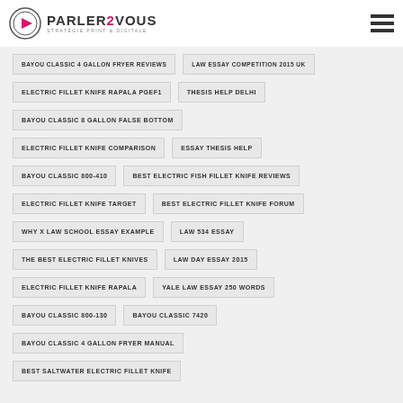PARLER2VOUS STRATÉGIE PRINT & DIGITALE
BAYOU CLASSIC 4 GALLON FRYER REVIEWS
LAW ESSAY COMPETITION 2015 UK
ELECTRIC FILLET KNIFE RAPALA PGEF1
THESIS HELP DELHI
BAYOU CLASSIC 8 GALLON FALSE BOTTOM
ELECTRIC FILLET KNIFE COMPARISON
ESSAY THESIS HELP
BAYOU CLASSIC 800-410
BEST ELECTRIC FISH FILLET KNIFE REVIEWS
ELECTRIC FILLET KNIFE TARGET
BEST ELECTRIC FILLET KNIFE FORUM
WHY X LAW SCHOOL ESSAY EXAMPLE
LAW 534 ESSAY
THE BEST ELECTRIC FILLET KNIVES
LAW DAY ESSAY 2015
ELECTRIC FILLET KNIFE RAPALA
YALE LAW ESSAY 250 WORDS
BAYOU CLASSIC 800-130
BAYOU CLASSIC 7420
BAYOU CLASSIC 4 GALLON FRYER MANUAL
BEST SALTWATER ELECTRIC FILLET KNIFE